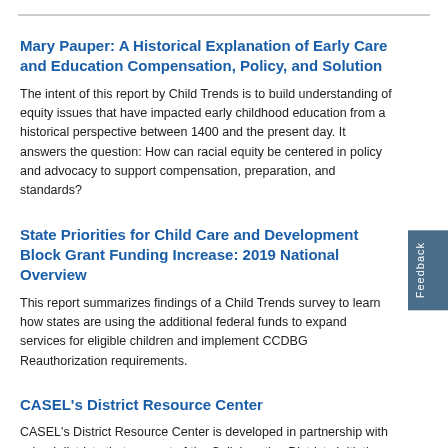Mary Pauper: A Historical Explanation of Early Care and Education Compensation, Policy, and Solution
The intent of this report by Child Trends is to build understanding of equity issues that have impacted early childhood education from a historical perspective between 1400 and the present day. It answers the question: How can racial equity be centered in policy and advocacy to support compensation, preparation, and standards?
State Priorities for Child Care and Development Block Grant Funding Increase: 2019 National Overview
This report summarizes findings of a Child Trends survey to learn how states are using the additional federal funds to expand services for eligible children and implement CCDBG Reauthorization requirements.
CASEL's District Resource Center
CASEL's District Resource Center is developed in partnership with school districts that are part of the Collaborating Districts Initiative, which has recently been enhanced. This tool kit is also intended to provide resources